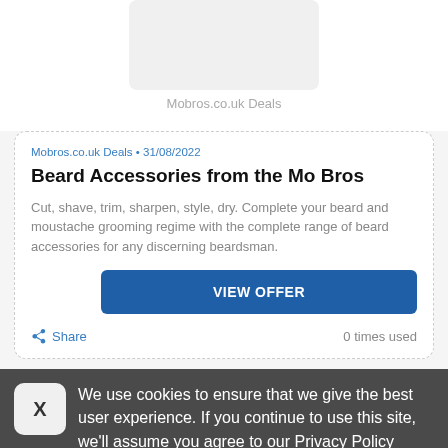[Figure (other): Image placeholder box for Mobros.co.uk product]
Mobros.co.uk Deals
Mobros.co.uk Deals • 31/08/2022
Beard Accessories from the Mo Bros
Cut, shave, trim, sharpen, style, dry. Complete your beard and moustache grooming regime with the complete range of beard accessories for any discerning beardsman.
VIEW OFFER
Share
0 times used
We use cookies to ensure that we give the best user experience. If you continue to use this site, we'll assume you agree to our Privacy Policy